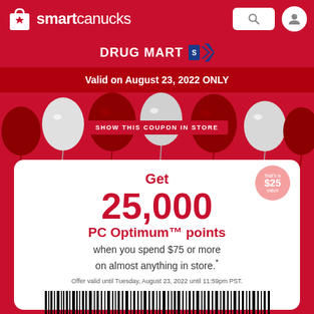smartcanucks
DRUG MART
Valid on August 23, 2022 ONLY
[Figure (photo): Red and white balloons decorating the coupon banner with a red button labeled SHOW THIS COUPON IN STORE]
Get 25,000 PC Optimum™ points when you spend $75 or more on almost anything in store.*
Offer valid until Tuesday, August 23, 2022 until 11:59pm PST.
[Figure (other): Barcode with number 4 62310 70000 9]